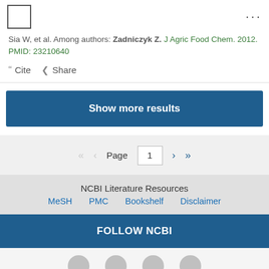Sia W, et al. Among authors: Zadniczyk Z. J Agric Food Chem. 2012. PMID: 23210640
" Cite  < Share
Show more results
Page 1
NCBI Literature Resources
MeSH    PMC    Bookshelf    Disclaimer
FOLLOW NCBI